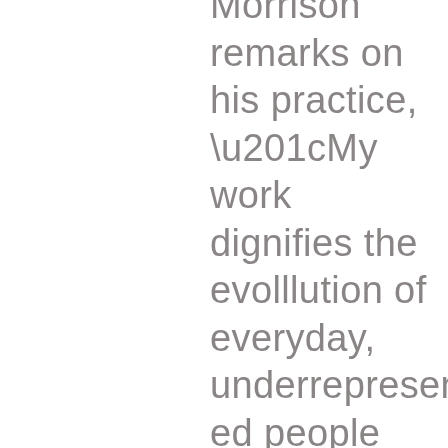Morrison remarks on his practice, “My work dignifies the evolllution of everyday, underrepresented people and places within the urban landscape. I seek to both